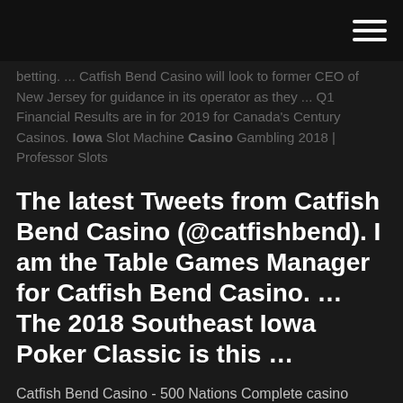≡
betting. ... Catfish Bend Casino will look to former CEO of New Jersey for guidance in its operator as they ... Q1 Financial Results are in for 2019 for Canada's Century Casinos. Iowa Slot Machine Casino Gambling 2018 | Professor Slots
The latest Tweets from Catfish Bend Casino (@catfishbend). I am the Table Games Manager for Catfish Bend Casino. … The 2018 Southeast Iowa Poker Classic is this …
Catfish Bend Casino - 500 Nations Complete casino